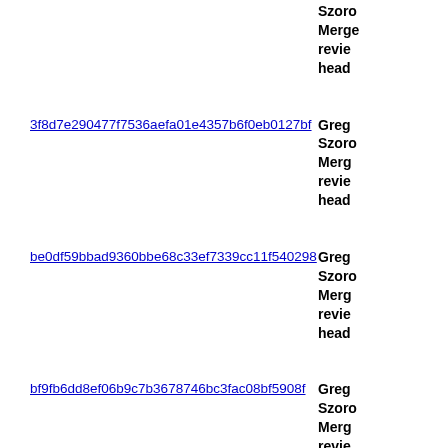Szoro Merge review head
3f8d7e290477f7536aefa01e4357b6f0eb0127bf
Grego Szoro Merge review head
be0df59bbad9360bbe68c33ef7339cc11f540298
Grego Szoro Merge review head
bf9fb6dd8ef06b9c7b3678746bc3fac08bf5908f
Grego Szoro Merge review head
dd4edaabf4ff2681d208794a7514c8a425e6ced6
Grego Szoro Merge review head
54c901ad8d92a4d12b4f2864faa33cdabc4c19ec
Grego Szoro Merge review head
7be4f5a3a0d22d42dbf9aa31aaa3a9d4d4321ed6
Grego Szoro